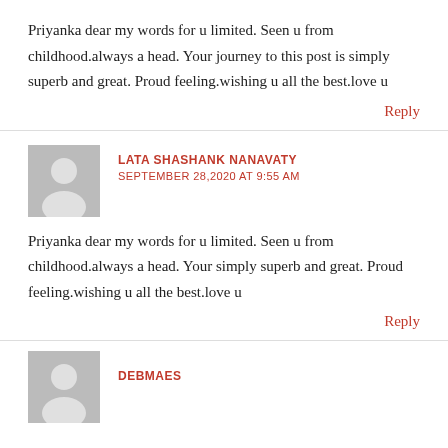Priyanka dear my words for u limited. Seen u from childhood.always a head. Your journey to this post is simply superb and great. Proud feeling.wishing u all the best.love u
Reply
LATA SHASHANK NANAVATY
SEPTEMBER 28,2020 AT 9:55 AM
Priyanka dear my words for u limited. Seen u from childhood.always a head. Your simply superb and great. Proud feeling.wishing u all the best.love u
Reply
DEBMAES